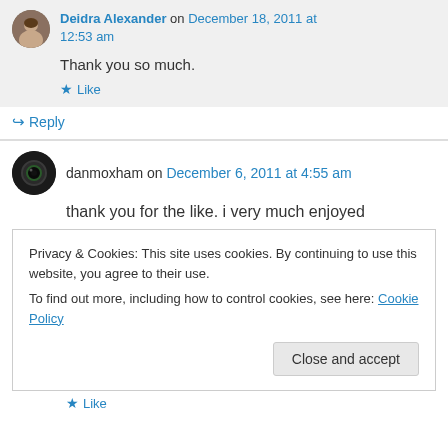Deidra Alexander on December 18, 2011 at 12:53 am
Thank you so much.
Like
Reply
danmoxham on December 6, 2011 at 4:55 am
thank you for the like. i very much enjoyed
Privacy & Cookies: This site uses cookies. By continuing to use this website, you agree to their use.
To find out more, including how to control cookies, see here: Cookie Policy
Close and accept
Like